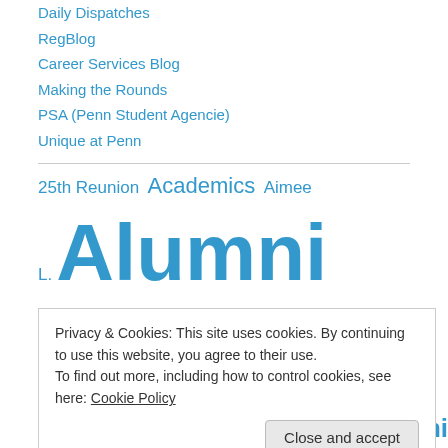Daily Dispatches
RegBlog
Career Services Blog
Making the Rounds
PSA (Penn Student Agencie)
Unique at Penn
[Figure (infographic): Tag cloud with links: 25th Reunion (small), Academics (small), Aimee L. (small), Alumni (extra large bold), Perspective (extra large bold), Alumni Programming (large)]
Privacy & Cookies: This site uses cookies. By continuing to use this website, you agree to their use.
To find out more, including how to control cookies, see here: Cookie Policy
Close and accept
Art  GAN  Guest blogger  Historical  Homecoming Weekend